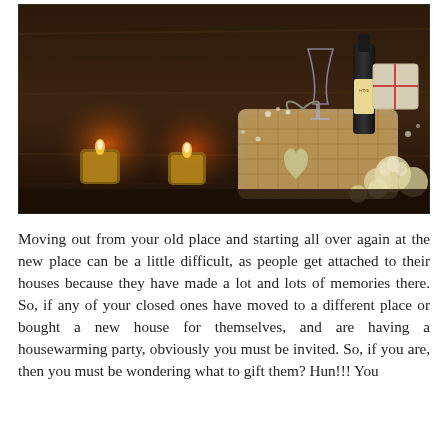[Figure (photo): A romantic gift basket with wine bottle, wine glasses, roses, heart decorations, and candles on a dark wooden background]
Moving out from your old place and starting all over again at the new place can be a little difficult, as people get attached to their houses because they have made a lot and lots of memories there. So, if any of your closed ones have moved to a different place or bought a new house for themselves, and are having a housewarming party, obviously you must be invited. So, if you are, then you must be wondering what to gift them? Hun!!! You